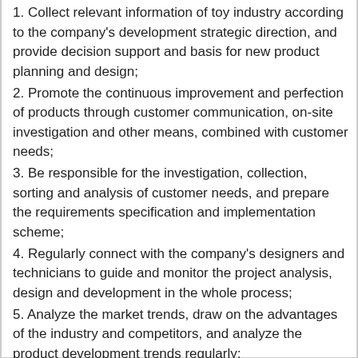1. Collect relevant information of toy industry according to the company's development strategic direction, and provide decision support and basis for new product planning and design;
2. Promote the continuous improvement and perfection of products through customer communication, on-site investigation and other means, combined with customer needs;
3. Be responsible for the investigation, collection, sorting and analysis of customer needs, and prepare the requirements specification and implementation scheme;
4. Regularly connect with the company's designers and technicians to guide and monitor the project analysis, design and development in the whole process;
5. Analyze the market trends, draw on the advantages of the industry and competitors, and analyze the product development trends regularly;
6. Track the market effect and customer feedback of the ordered products, collect and actively tap the improvement needs, continuously improve the products according to the business needs and improve customer satisfaction.